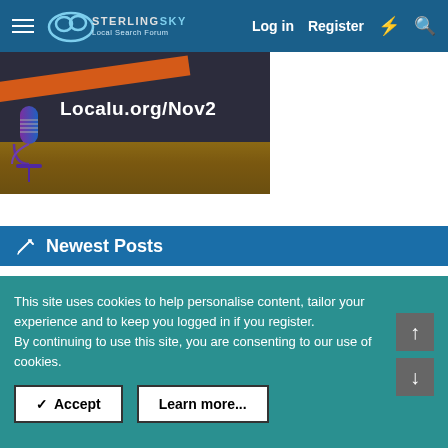Sterling Sky Local Search Forum — Log in | Register
[Figure (photo): Promotional banner image with a microphone and text 'Localu.org/Nov2' on a dark chalkboard and wood background]
Newest Posts
Request to Update Certification Document? — Latest: Kurt Steinbrueck · 31 minutes ago — Paid Search and Local Service Ads
This site uses cookies to help personalise content, tailor your experience and to keep you logged in if you register.
By continuing to use this site, you are consenting to our use of cookies.
✓ Accept | Learn more...